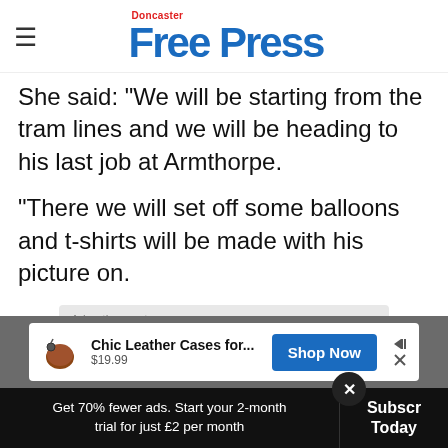Doncaster Free Press
She said: "We will be starting from the tram lines and we will be heading to his last job at Armthorpe.
"There we will set off some balloons and t-shirts will be made with his picture on.
[Figure (other): Advertisement box with light gray background labeled 'Advertisement']
[Figure (other): Ad banner: Chic Leather Cases for... $19.99 with Shop Now button]
Get 70% fewer ads. Start your 2-month trial for just £2 per month
Subscribe Today